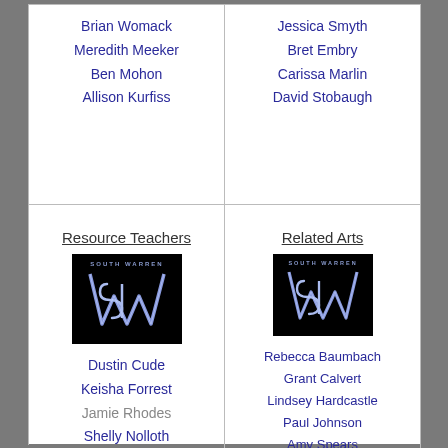Brian Womack
Meredith Meeker
Ben Mohon
Allison Kurfiss
Jessica Smyth
Bret Embry
Carissa Marlin
David Stobaugh
Resource Teachers
[Figure (logo): South Warren SW logo on black background]
Dustin Cude
Keisha Forrest
Jamie Rhodes
Shelly Nolloth
Kyle Kinmon
Related Arts
[Figure (logo): South Warren SW logo on black background]
Rebecca Baumbach
Grant Calvert
Lindsey Hardcastle
Paul Johnson
Amy Spears
Emily Young
Ryan Fowler